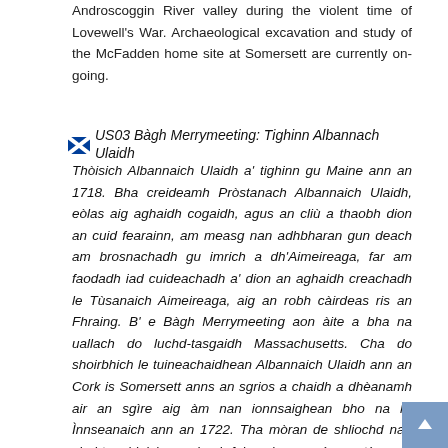Androscoggin River valley during the violent time of Lovewell's War. Archaeological excavation and study of the McFadden home site at Somersett are currently on-going.
US03 Bàgh Merrymeeting: Tighinn Albannach Ulaidh
Thòisich Albannaich Ulaidh a' tighinn gu Maine ann an 1718. Bha creideamh Pròstanach Albannaich Ulaidh, eòlas aig aghaidh cogaidh, agus an cliù a thaobh dion an cuid fearainn, am measg nan adhbharan gun deach am brosnachadh gu imrich a dh'Aimeireaga, far am faodadh iad cuideachadh a' dion an aghaidh creachadh le Tùsanaich Aimeireaga, aig an robh càirdeas ris an Fhraing. B' e Bàgh Merrymeeting aon àite a bha na uallach do luchd-tasgaidh Massachusetts. Cha do shoirbhich le tuineachaidhean Albannaich Ulaidh ann an Cork is Somersett anns an sgrios a chaidh a dhèanamh air an sgìre aig àm nan ionnsaighean bho na h-Ìnnseanaich ann an 1722. Tha mòran de shliochd nan ciad teaghlaichean sin air fuireach san sgìre ge-tà, agus tha iad mar phàirt de dh'inneach cultarach is eachdraidheil Maine.